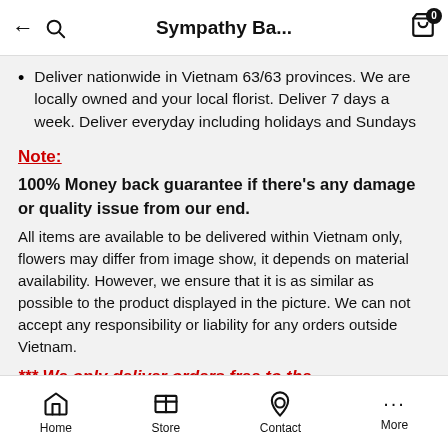Sympathy Ba...
Deliver nationwide in Vietnam 63/63 provinces. We are locally owned and your local florist. Deliver 7 days a week. Deliver everyday including holidays and Sundays
Note:
100% Money back guarantee if there's any damage or quality issue from our end.
All items are available to be delivered within Vietnam only, flowers may differ from image show, it depends on material availability. However, we ensure that it is as similar as possible to the product displayed in the picture. We can not accept any responsibility or liability for any orders outside Vietnam.
*** We only deliver orders free to the
Home  Store  Contact  More